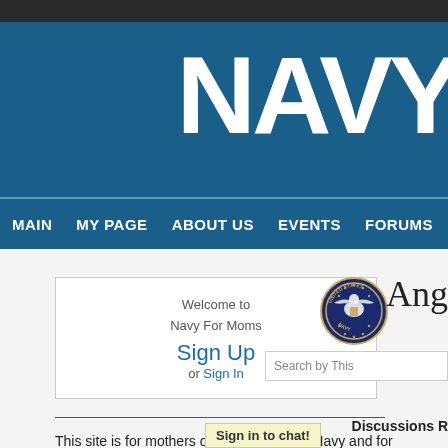Navy For Moms website header
[Figure (screenshot): Navy For Moms website navigation with NAVY logo text on teal/blue banner]
MAIN   MY PAGE   ABOUT US   EVENTS   FORUMS
Welcome to Navy For Moms
Sign Up or Sign In
[Figure (logo): U.S. Navy circular seal/emblem]
Ang
Search by This
This site is for mothers of kids in the U.S. Navy and for Moms who have questions
Discussions R
Sign in to chat!